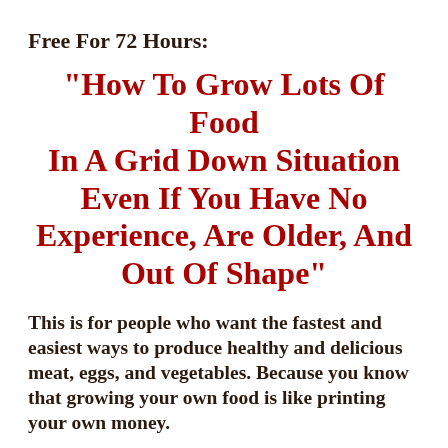Free For 72 Hours:
"How To Grow Lots Of Food In A Grid Down Situation Even If You Have No Experience, Are Older, And Out Of Shape"
This is for people who want the fastest and easiest ways to produce healthy and delicious meat, eggs, and vegetables. Because you know that growing your own food is like printing your own money.